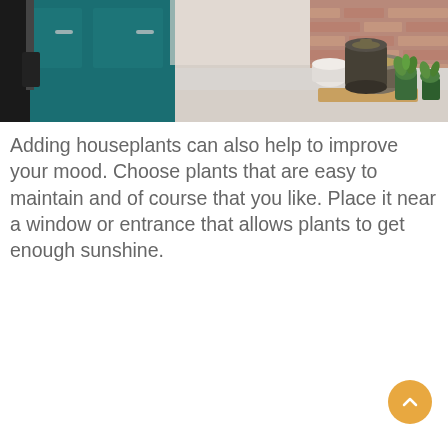[Figure (photo): Kitchen scene with teal/dark green cabinets with silver handles on the left, a light gray countertop in the center, and on the right a wooden tray with decorative metal jars/containers and small green potted succulents against a brick wall background.]
Adding houseplants can also help to improve your mood. Choose plants that are easy to maintain and of course that you like. Place it near a window or entrance that allows plants to get enough sunshine.